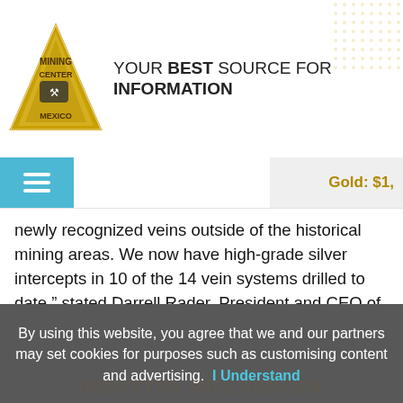YOUR BEST SOURCE FOR INFORMATION — Mining Center Mexico logo
newly recognized veins outside of the historical mining areas. We now have high-grade silver intercepts in 10 of the 14 vein systems drilled to date," stated Darrell Rader, President and CEO of Minaurum Gold.
« Previous 1 2 3 4 5 … 11 Next »
Search...
By using this website, you agree that we and our partners may set cookies for purposes such as customising content and advertising. I Understand